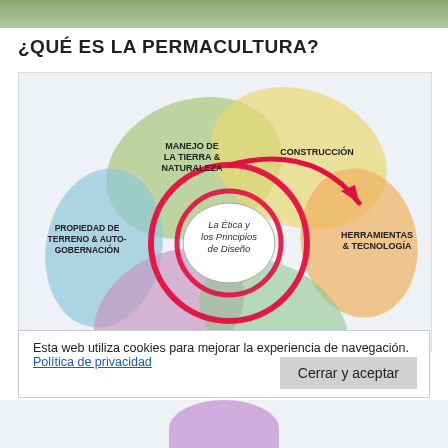[Figure (photo): Partial photo bar at top of page, green/nature tones]
¿QUÉ ES LA PERMACULTURA?
[Figure (infographic): Permaculture flower diagram with overlapping colored petals (ellipses) labeled: MANEJO DE LA TIERRA & NATURALEZA, CONSTRUCCIÓN, HERRAMIENTAS & TECNOLOGÍA, PROPIEDAD DE TERRENO & AUTO-GOBERNACIÓN. A red spiral arrow circles the center white ellipse labeled 'La Ética y los Principios de Diseño'.]
Esta web utiliza cookies para mejorar la experiencia de navegación. Política de privacidad
Cerrar y aceptar